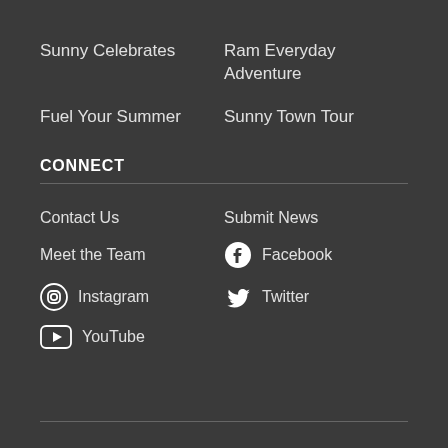Sunny Celebrates
Ram Everyday Adventure
Fuel Your Summer
Sunny Town Tour
CONNECT
Contact Us
Submit News
Meet the Team
Facebook
Instagram
Twitter
YouTube